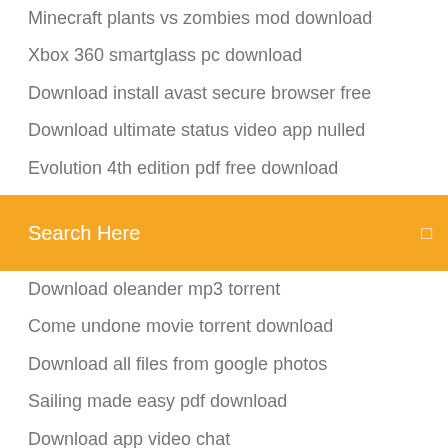Minecraft plants vs zombies mod download
Xbox 360 smartglass pc download
Download install avast secure browser free
Download ultimate status video app nulled
Evolution 4th edition pdf free download
Download previous version of whatsapp on iphone
Search Here
Download oleander mp3 torrent
Come undone movie torrent download
Download all files from google photos
Sailing made easy pdf download
Download app video chat
Chloe creations torrent download
Download minecraft 1.12 free full version pc
How to make a download file link
Free themes landing page download app
How to download latest ios on iphone 4